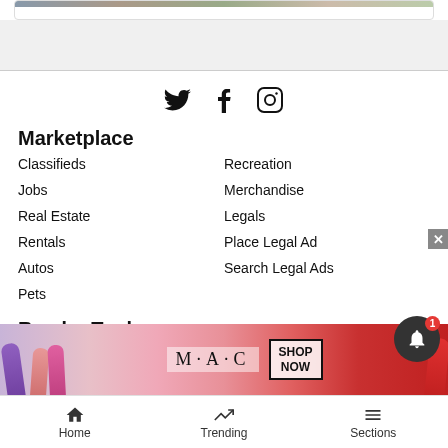[Figure (photo): Top portion of a card with an image strip at the top]
[Figure (infographic): Social media icons: Twitter bird, Facebook f, Instagram camera outline]
Marketplace
Classifieds
Recreation
Jobs
Merchandise
Real Estate
Legals
Rentals
Place Legal Ad
Autos
Search Legal Ads
Pets
Reader Tools
Contact Us
Submit an Obituary
Become
Submiss
[Figure (photo): MAC cosmetics advertisement banner with lipsticks and SHOP NOW button]
Home  Trending  Sections